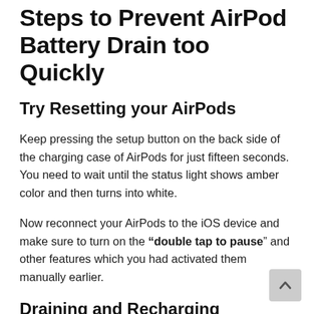Steps to Prevent AirPod Battery Drain too Quickly
Try Resetting your AirPods
Keep pressing the setup button on the back side of the charging case of AirPods for just fifteen seconds. You need to wait until the status light shows amber color and then turns into white.
Now reconnect your AirPods to the iOS device and make sure to turn on the “double tap to pause” and other features which you had activated them manually earlier.
Draining and Recharging
If the above method doesn’t workout, by draining and then recharging the battery may yield desired results. You need to drain all the battery of both the AirPods by...